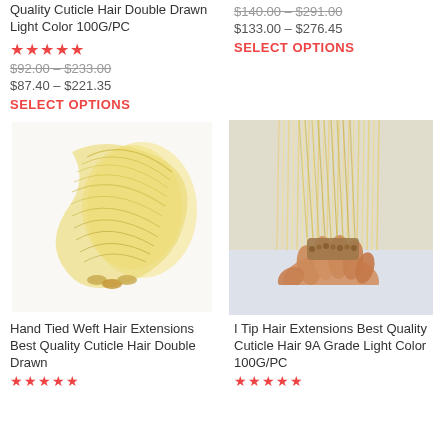Quality Cuticle Hair Double Drawn Light Color 100G/PC
[Figure (photo): Star rating: 5 stars in red/orange]
$92.00 – $233.00 (strikethrough)
$87.40 – $221.35
SELECT OPTIONS
$140.00 – $291.00 (strikethrough)
$133.00 – $276.45
SELECT OPTIONS
[Figure (photo): Blonde hair extensions bundled together, shown as a weft with clips at the bottom]
[Figure (photo): Hand holding I-tip hair extensions with light blonde hair fanned out above]
Hand Tied Weft Hair Extensions Best Quality Cuticle Hair Double Drawn
I Tip Hair Extensions Best Quality Cuticle Hair 9A Grade Light Color 100G/PC